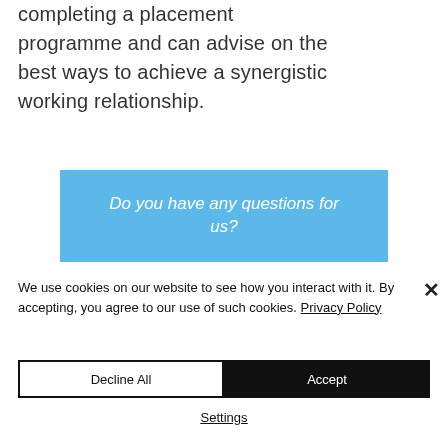completing a placement programme and can advise on the best ways to achieve a synergistic working relationship.
Do you have any questions for us?
We use cookies on our website to see how you interact with it. By accepting, you agree to our use of such cookies. Privacy Policy
Decline All
Accept
Settings